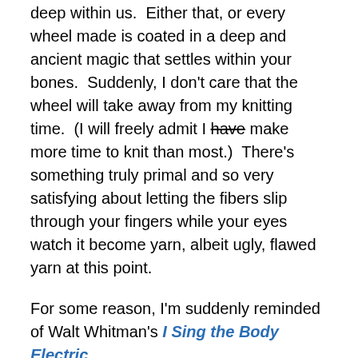deep within us.  Either that, or every wheel made is coated in a deep and ancient magic that settles within your bones.  Suddenly, I don't care that the wheel will take away from my knitting time.  (I will freely admit I have [strikethrough] make more time to knit than most.)  There's something truly primal and so very satisfying about letting the fibers slip through your fingers while your eyes watch it become yarn, albeit ugly, flawed yarn at this point.
For some reason, I'm suddenly reminded of Walt Whitman's I Sing the Body Electric.
I SING the Body electric;
The armies of those I love engirth me, and I engirth them;
They will not let me off till I go with them, respond to